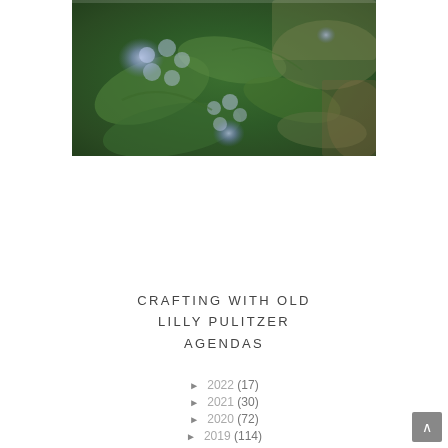[Figure (photo): Photograph of blue hydrangea flowers with large green leaves, set against a background of green foliage and moss.]
CRAFTING WITH OLD LILLY PULITZER AGENDAS
► 2022 (17)
► 2021 (30)
► 2020 (72)
► 2019 (114)